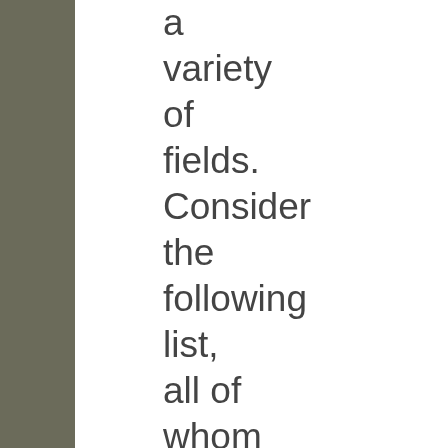a variety of fields. Consider the following list, all of whom not only appear in the movie but are also profiled on the movie's two web